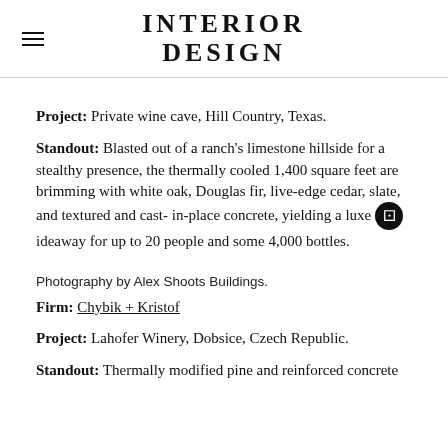INTERIOR DESIGN
Project: Private wine cave, Hill Country, Texas.
Standout: Blasted out of a ranch's limestone hillside for a stealthy presence, the thermally cooled 1,400 square feet are brimming with white oak, Douglas fir, live-edge cedar, slate, and textured and cast- in-place concrete, yielding a luxe hideaway for up to 20 people and some 4,000 bottles.
Photography by Alex Shoots Buildings.
Firm: Chybik + Kristof
Project: Lahofer Winery, Dobsice, Czech Republic.
Standout: Thermally modified pine and reinforced concrete